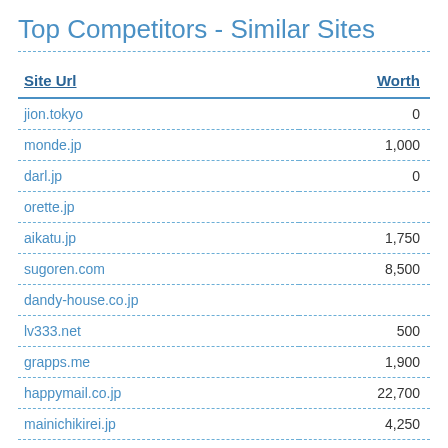Top Competitors - Similar Sites
| Site Url | Worth |
| --- | --- |
| jion.tokyo | 0 |
| monde.jp | 1,000 |
| darl.jp | 0 |
| orette.jp |  |
| aikatu.jp | 1,750 |
| sugoren.com | 8,500 |
| dandy-house.co.jp |  |
| lv333.net | 500 |
| grapps.me | 1,900 |
| happymail.co.jp | 22,700 |
| mainichikirei.jp | 4,250 |
| mainichi-kirei.jp | 0 |